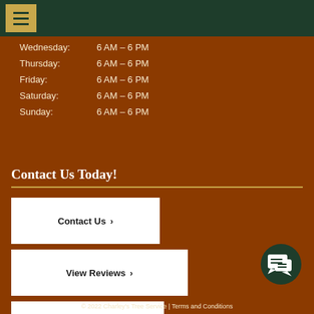[Figure (other): Dark green top navigation bar with yellow/gold hamburger menu icon]
Wednesday:   6 AM – 6 PM
Thursday:    6 AM – 6 PM
Friday:      6 AM – 6 PM
Saturday:    6 AM – 6 PM
Sunday:      6 AM – 6 PM
Contact Us Today!
Contact Us >
View Reviews >
Call Now >
[Figure (illustration): Dark green circular chat/message icon button in bottom right corner]
© 2022 Charley's Tree Service | Terms and Conditions